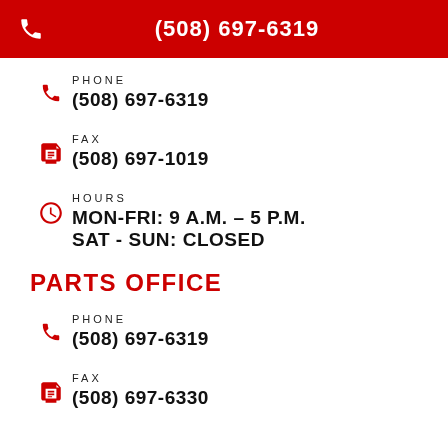(508) 697-6319
PHONE
(508) 697-6319
FAX
(508) 697-1019
HOURS
MON-FRI: 9 A.M. – 5 P.M.
SAT - SUN: CLOSED
PARTS OFFICE
PHONE
(508) 697-6319
FAX
(508) 697-6330